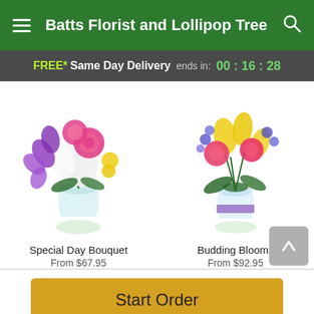Batts Florist and Lollipop Tree
FREE* Same Day Delivery ends in: 00 : 16 : 28
[Figure (photo): Special Day Bouquet - pink roses, white lilies, purple orchids and yellow flowers in a glass vase]
Special Day Bouquet
From $67.95
[Figure (photo): Budding Blooms - yellow tulips, pink carnations, blue and purple flowers in a glass vase with purple ribbon]
Budding Blooms
From $92.95
Start Order